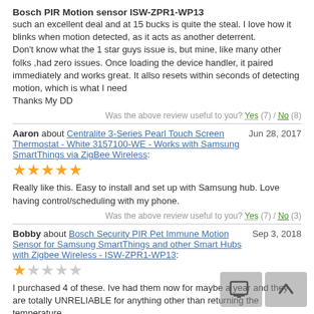Bosch PIR Motion sensor ISW-ZPR1-WP13
such an excellent deal and at 15 bucks is quite the steal. I love how it blinks when motion detected, as it acts as another deterrent.
Don't know what the 1 star guys issue is, but mine, like many other folks ,had zero issues. Once loading the device handler, it paired immediately and works great. It allso resets within seconds of detecting motion, which is what I need
Thanks My DD
Was the above review useful to you? Yes (7) / No (8)
Aaron about Centralite 3-Series Pearl Touch Screen Thermostat - White 3157100-WE - Works with Samsung SmartThings via ZigBee Wireless: Jun 28, 2017
[Figure (other): 5 gold star rating]
Really like this. Easy to install and set up with Samsung hub. Love having control/scheduling with my phone.
Was the above review useful to you? Yes (7) / No (3)
Bobby about Bosch Security PIR Pet Immune Motion Sensor for Samsung SmartThings and other Smart Hubs with Zigbee Wireless - ISW-ZPR1-WP13: Sep 3, 2018
[Figure (other): 1 gold star rating out of 5]
I purchased 4 of these. Ive had them now for maybe a year and they are totally UNRELIABLE for anything other than returning the temperature.

Yes I followed the instructions and yes they pair with SmartThings, but they stop sending motion information after a few days, then you have to